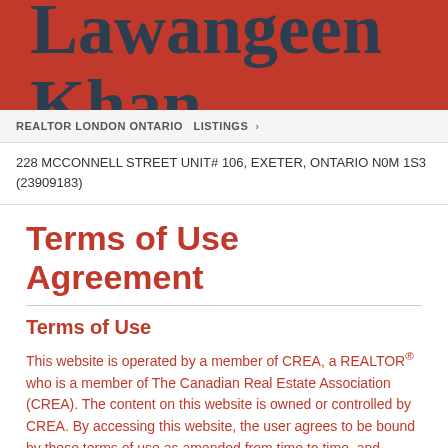Lawangeen Khan
REALTOR LONDON ONTARIO LISTINGS ›
228 MCCONNELL STREET UNIT# 106, EXETER, ONTARIO N0M 1S3 (23909183)
Terms of Use Agreement
Terms of Use
This website is operated by a member of CREA, a REALTOR® who is a member of The Canadian Real Estate Association (CREA). The content on this website is owned or controlled by CREA. By accessing this website, the user agrees to be bound by these terms of use as amended from time to time, and agrees that these terms form a contract that is binding between the user and the...